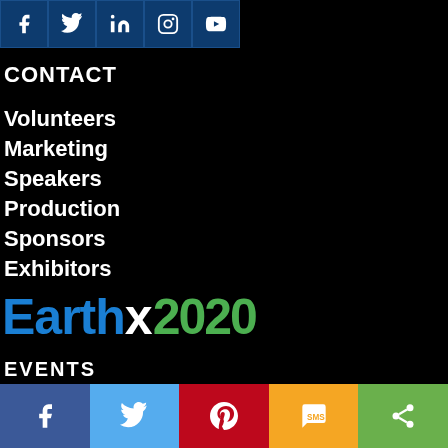[Figure (other): Social media icon bar at top: Facebook, Twitter, LinkedIn, Instagram, YouTube icons on dark blue background]
CONTACT
Volunteers
Marketing
Speakers
Production
Sponsors
Exhibitors
[Figure (logo): EarthX2020 logo with blue 'Earth', white 'x', and green '2020']
EVENTS
[Figure (other): Bottom share bar with 5 buttons: Facebook (blue), Twitter (light blue), Pinterest (red), SMS (yellow/orange), Share (green)]